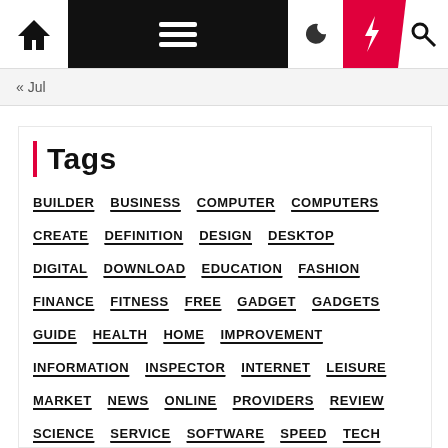Home / Menu / Moon / Lightning / Search
« Jul
Tags
BUILDER
BUSINESS
COMPUTER
COMPUTERS
CREATE
DEFINITION
DESIGN
DESKTOP
DIGITAL
DOWNLOAD
EDUCATION
FASHION
FINANCE
FITNESS
FREE
GADGET
GADGETS
GUIDE
HEALTH
HOME
IMPROVEMENT
INFORMATION
INSPECTOR
INTERNET
LEISURE
MARKET
NEWS
ONLINE
PROVIDERS
REVIEW
SCIENCE
SERVICE
SOFTWARE
SPEED
TECH
TECHNOLOGY
TEST
TOP
TRAVEL
UNIVERSITY